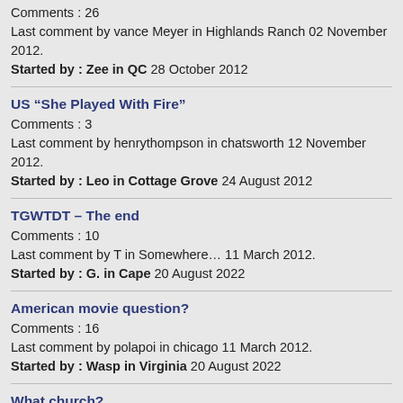Comments : 26
Last comment by vance Meyer in Highlands Ranch 02 November 2012.
Started by : Zee in QC 28 October 2012
US “She Played With Fire”
Comments : 3
Last comment by henrythompson in chatsworth 12 November 2012.
Started by : Leo in Cottage Grove 24 August 2012
TGWTDT – The end
Comments : 10
Last comment by T in Somewhere… 11 March 2012.
Started by : G. in Cape 20 August 2022
American movie question?
Comments : 16
Last comment by polapoi in chicago 11 March 2012.
Started by : Wasp in Virginia 20 August 2022
What church?
Comments : 3
Last comment by Xavier Dolan in Hamilton ON 01 March 2012.